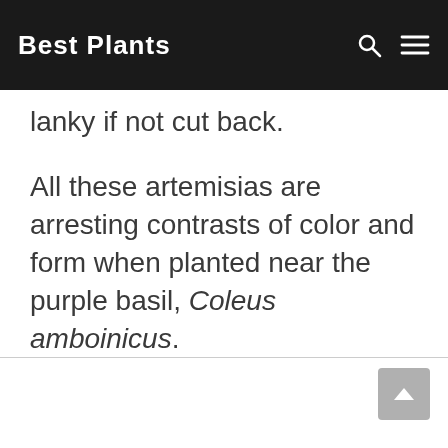Best Plants
lanky if not cut back.
All these artemisias are arresting contrasts of color and form when planted near the purple basil, Coleus amboinicus.